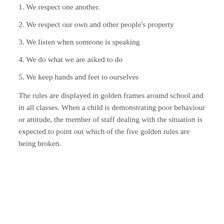1. We respect one another.
2. We respect our own and other people's property
3. We listen when someone is speaking
4. We do what we are asked to do
5. We keep hands and feet to ourselves
The rules are displayed in golden frames around school and in all classes. When a child is demonstrating poor behaviour or attitude, the member of staff dealing with the situation is expected to point out which of the five golden rules are being broken.